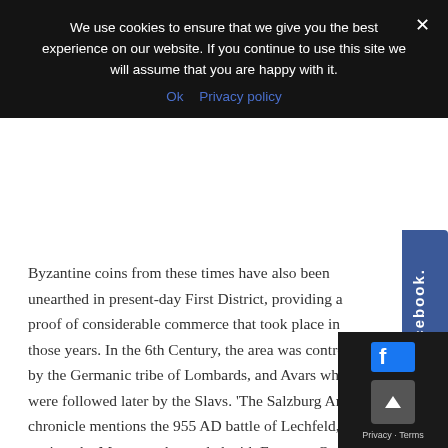We use cookies to ensure that we give you the best experience on our website. If you continue to use this site we will assume that you are happy with it.
Ok   Privacy policy
Byzantine coins from these times have also been unearthed in present-day First District, providing a proof of considerable commerce that took place in those years. In the 6th Century, the area was controlled by the Germanic tribe of Lombards, and Avars who were followed later by the Slavs. 'The Salzburg Annals' chronicle mentions the 955 AD battle of Lechfeld, against the Magyars, that ended with Emperor Otto I's victory over the Hungarians, right at the onset the Middle Ages.